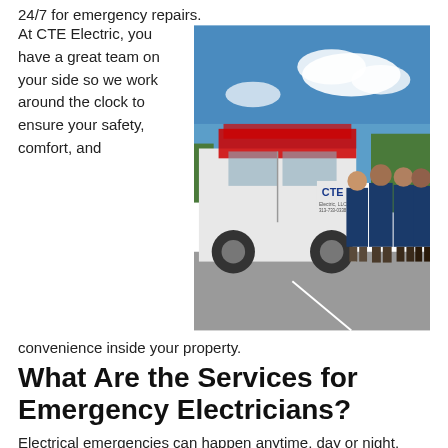24/7 for emergency repairs.
At CTE Electric, you have a great team on your side so we work around the clock to ensure your safety, comfort, and convenience inside your property.
[Figure (photo): Four CTE Electric workers in navy blue shirts standing in front of a white CTE Electric van in a parking lot, with trees and blue sky in the background.]
What Are the Services for Emergency Electricians?
Electrical emergencies can happen anytime, day or night, which is why you need a reliable electrician company who will always be there when you need them. At CTE Electric our